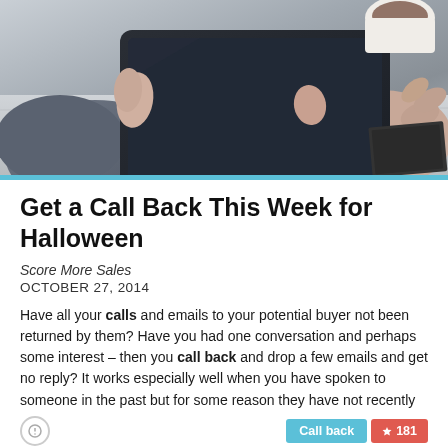[Figure (photo): Hands holding a tablet device on a grey wooden table, with a coffee cup visible in the background]
Get a Call Back This Week for Halloween
Score More Sales
OCTOBER 27, 2014
Have all your calls and emails to your potential buyer not been returned by them? Have you had one conversation and perhaps some interest – then you call back and drop a few emails and get no reply? It works especially well when you have spoken to someone in the past but for some reason they have not recently returned your calls or emails. Wishing you a Happy Halloween – hoping you'll call, otherwise I'll try you next week.